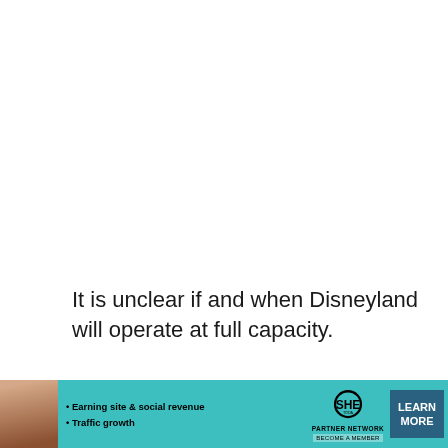It is unclear if and when Disneyland will operate at full capacity.
[Figure (photo): Photo of a Casting Agency sign with gold lettering on a dark background, with decorative wooden paneling visible on the right.]
[Figure (infographic): Advertisement banner for SHE Media Partner Network with teal background. Shows a woman, bullet points 'Earning site & social revenue' and 'Traffic growth', SHE logo, 'PARTNER NETWORK', 'BECOME A MEMBER', and a 'LEARN MORE' button.]